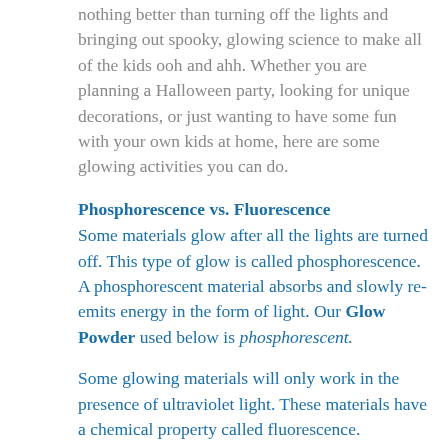nothing better than turning off the lights and bringing out spooky, glowing science to make all of the kids ooh and ahh. Whether you are planning a Halloween party, looking for unique decorations, or just wanting to have some fun with your own kids at home, here are some glowing activities you can do.
Phosphorescence vs. Fluorescence
Some materials glow after all the lights are turned off. This type of glow is called phosphorescence. A phosphorescent material absorbs and slowly re-emits energy in the form of light. Our Glow Powder used below is phosphorescent.
Some glowing materials will only work in the presence of ultraviolet light. These materials have a chemical property called fluorescence. Fluorescent materials absorb energy just like phosphorescent materials, but